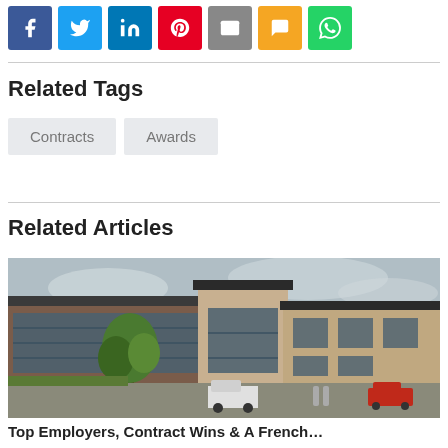[Figure (other): Social sharing buttons row: Facebook (blue), Twitter (light blue), LinkedIn (dark blue), Pinterest (red), Email (grey), SMS (yellow/orange), WhatsApp (green)]
Related Tags
Contracts   Awards
Related Articles
[Figure (photo): Exterior photo of a modern commercial/office building with brick and glass facade, green tree in foreground, overcast sky, cars in car park]
Top Employers, Contract Wins & A French…